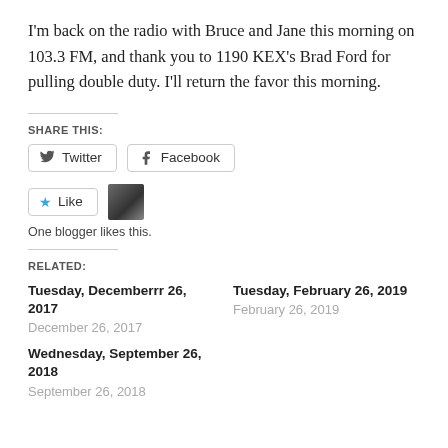I'm back on the radio with Bruce and Jane this morning on 103.3 FM, and thank you to 1190 KEX's Brad Ford for pulling double duty. I'll return the favor this morning.
SHARE THIS:
Twitter  Facebook
Like  [avatar]  One blogger likes this.
RELATED:
Tuesday, Decemberrr 26, 2017
December 26, 2017
Tuesday, February 26, 2019
February 26, 2019
Wednesday, September 26, 2018
September 26, 2018